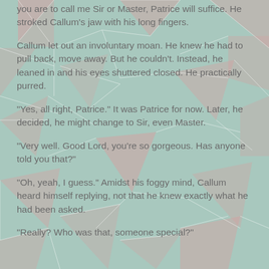you are to call me Sir or Master, Patrice will suffice. He stroked Callum's jaw with his long fingers.
Callum let out an involuntary moan. He knew he had to pull back, move away. But he couldn't. Instead, he leaned in and his eyes shuttered closed. He practically purred.
“Yes, all right, Patrice.” It was Patrice for now. Later, he decided, he might change to Sir, even Master.
“Very well. Good Lord, you’re so gorgeous. Has anyone told you that?”
“Oh, yeah, I guess.” Amidst his foggy mind, Callum heard himself replying, not that he knew exactly what he had been asked.
“Really? Who was that, someone special?”